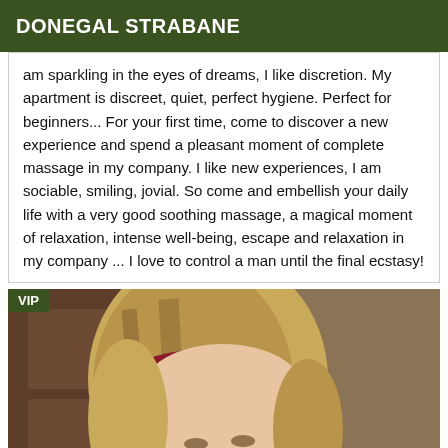DONEGAL STRABANE
am sparkling in the eyes of dreams, I like discretion. My apartment is discreet, quiet, perfect hygiene. Perfect for beginners... For your first time, come to discover a new experience and spend a pleasant moment of complete massage in my company. I like new experiences, I am sociable, smiling, jovial. So come and embellish your daily life with a very good soothing massage, a magical moment of relaxation, intense well-being, escape and relaxation in my company ... I love to control a man until the final ecstasy!
[Figure (photo): Photo of a woman with blonde highlighted hair and a dark red hairband, in front of a wooden door background. VIP badge in top-left corner.]